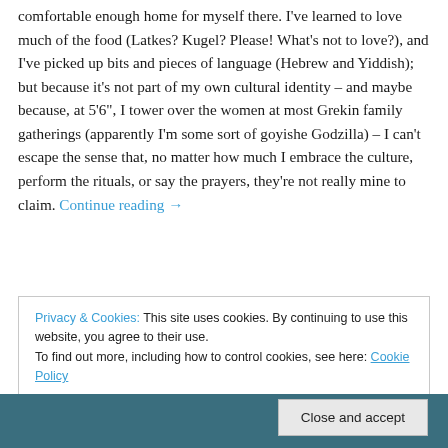comfortable enough home for myself there. I've learned to love much of the food (Latkes? Kugel? Please! What's not to love?), and I've picked up bits and pieces of language (Hebrew and Yiddish); but because it's not part of my own cultural identity – and maybe because, at 5'6", I tower over the women at most Grekin family gatherings (apparently I'm some sort of goyishe Godzilla) – I can't escape the sense that, no matter how much I embrace the culture, perform the rituals, or say the prayers, they're not really mine to claim. Continue reading →
Privacy & Cookies: This site uses cookies. By continuing to use this website, you agree to their use. To find out more, including how to control cookies, see here: Cookie Policy